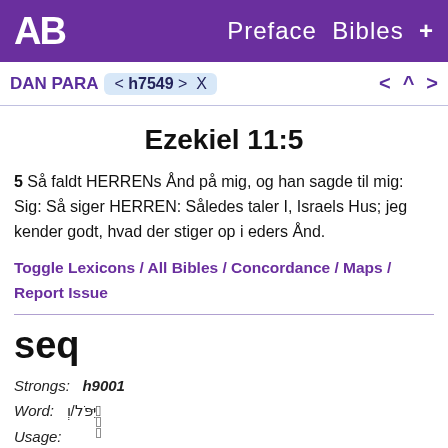AB  Preface  Bibles  +
DAN PARA  < h7549 >  X  <  ^  >
Ezekiel 11:5
5 Så faldt HERRENs Ånd på mig, og han sagde til mig: Sig: Så siger HERREN: Således taler I, Israels Hus; jeg kender godt, hvad der stiger op i eders Ånd.
Toggle Lexicons / All Bibles / Concordance / Maps / Report Issue
seq
Strongs: h9001
Word: וַ֤יִּפֹּל/וְ
Usage:
21402 times in 39 books, 828 chapters, and 11632